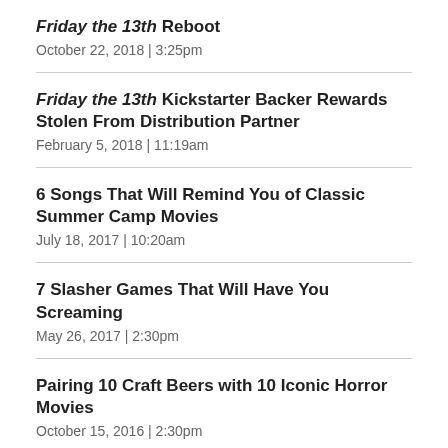Friday the 13th Reboot
October 22, 2018  |  3:25pm
Friday the 13th Kickstarter Backer Rewards Stolen From Distribution Partner
February 5, 2018  |  11:19am
6 Songs That Will Remind You of Classic Summer Camp Movies
July 18, 2017  |  10:20am
7 Slasher Games That Will Have You Screaming
May 26, 2017  |  2:30pm
Pairing 10 Craft Beers with 10 Iconic Horror Movies
October 15, 2016  |  2:30pm
Doomed! You're all Doomed! All 12 Friday the 13th Movies, Ranked
May 13, 2016  |  2:08pm
Behold: A Supercut of Every Friday the 13th Series Kill